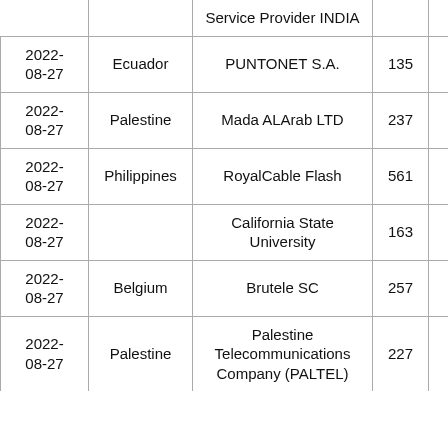| Date | Country | Service Provider / Network | Count |  |
| --- | --- | --- | --- | --- |
|  |  | Service Provider INDIA |  |  |
| 2022-08-27 | Ecuador | PUNTONET S.A. | 135 |  |
| 2022-08-27 | Palestine | Mada ALArab LTD | 237 |  |
| 2022-08-27 | Philippines | RoyalCable Flash | 561 |  |
| 2022-08-27 |  | California State University | 163 |  |
| 2022-08-27 | Belgium | Brutele SC | 257 |  |
| 2022-08-27 | Palestine | Palestine Telecommunications Company (PALTEL) | 227 |  |